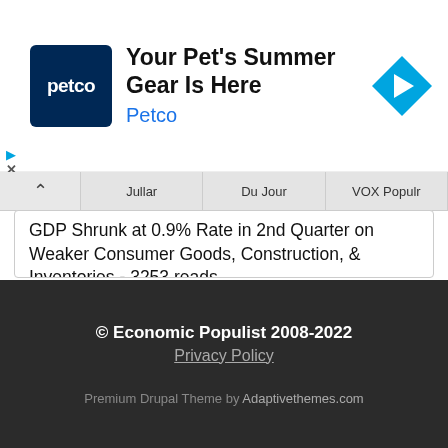[Figure (infographic): Petco advertisement banner with Petco logo (dark blue square with white 'petco' text), headline 'Your Pet's Summer Gear Is Here', brand name 'Petco' in blue, and a blue diamond navigation arrow icon on the right.]
GDP Shrunk at 0.9% Rate in 2nd Quarter on Weaker Consumer Goods, Construction, & Inventories - 3253 reads
Global oil production exceeded demand by 1,490,000 barrels per day in June - 1497 reads
US oil exports at a record high, oil supplies at a 18 year low, SPR at a 37 year low - 1191 reads
© Economic Populist 2008-2022
Privacy Policy
Premium Drupal Theme by Adaptivethemes.com